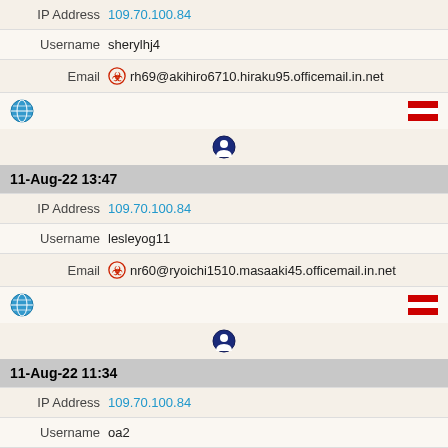IP Address 109.70.100.84
Username sherylhj4
Email rh69@akihiro6710.hiraku95.officemail.in.net
[Figure (other): Globe icon and Austrian flag icon row]
[Figure (other): User/info icon row]
11-Aug-22 13:47
IP Address 109.70.100.84
Username lesleyog11
Email nr60@ryoichi1510.masaaki45.officemail.in.net
[Figure (other): Globe icon and Austrian flag icon row]
[Figure (other): User/info icon row]
11-Aug-22 11:34
IP Address 109.70.100.84
Username oa2
Email jq7@hiroyuki4010.yoshito33.inwebmail.fun
[Figure (other): Globe icon and Austrian flag icon row]